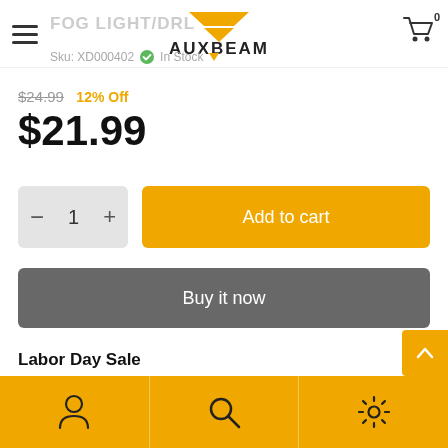FOG LIGHT/DRL — AUXBEAM
Sku: XD000402   In Stock
$24.99  12% Off
$21.99
− 1 +   Add to cart
Buy it now
Labor Day Sale
[Figure (screenshot): Mobile e-commerce product page bottom navigation bar with person, search, and settings icons on orange background]